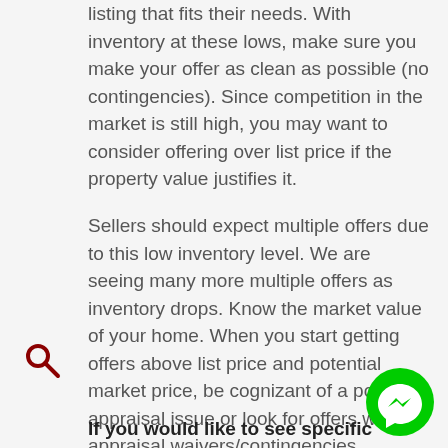listing that fits their needs. With inventory at these lows, make sure you make your offer as clean as possible (no contingencies). Since competition in the market is still high, you may want to consider offering over list price if the property value justifies it.
Sellers should expect multiple offers due to this low inventory level. We are seeing many more multiple offers as inventory drops. Know the market value of your home. When you start getting offers above list price and potential market price, be cognizant of a potential appraisal issue or look for offers with appraisal waivers/contingencies.
If you would like to see specific homes as they